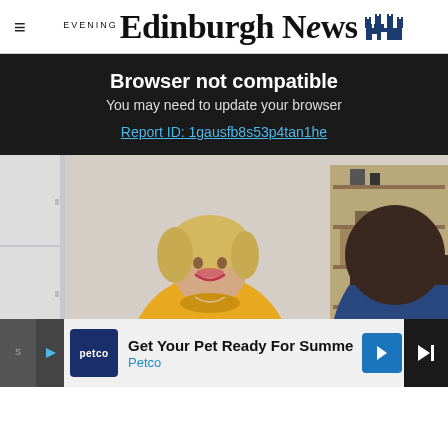Edinburgh Evening News
Browser not compatible
You may need to update your browser
Report ID: 1gausfb8s53p4tan1he
[Figure (photo): Two people in conversation; a woman with short blonde hair wearing a yellow sweater gestures with her hands across a table; another person with dark hair in a blue top is seen from behind; indoor setting with shelves in background.]
[Figure (screenshot): Petco advertisement bar at bottom: 'Get Your Pet Ready For Summe / Petco' with Petco logo and navigation arrow icon.]